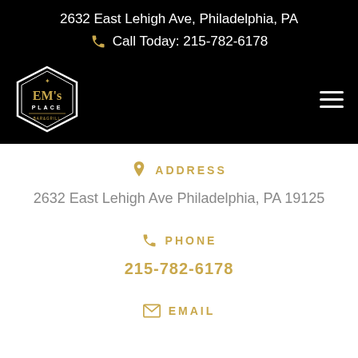2632 East Lehigh Ave, Philadelphia, PA
Call Today: 215-782-6178
[Figure (logo): EM's Place hexagon logo in white outline with gold text on black background]
ADDRESS
2632 East Lehigh Ave Philadelphia, PA 19125
PHONE
215-782-6178
EMAIL